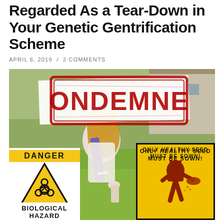Regarded As a Tear-Down in Your Genetic Gentrification Scheme
APRIL 6, 2019 / 2 COMMENTS
[Figure (photo): Composite image with a vintage photo of a young girl with a sash, overlaid with a red 'CONDEMNED' stamp, a yellow and black biological hazard danger warning sign, and a vintage propaganda poster saying 'ONLY HEALTHY SEED MUST BE SOWN!']